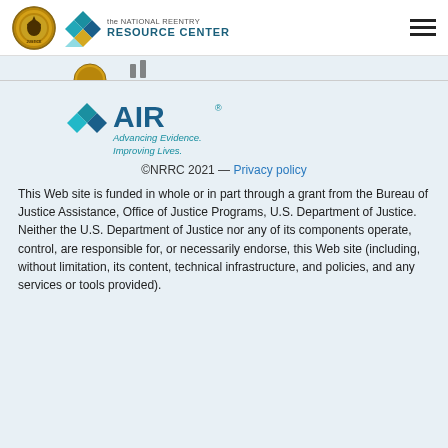the NATIONAL REENTRY RESOURCE CENTER
[Figure (logo): AIR (American Institutes for Research) logo with tagline: Advancing Evidence. Improving Lives.]
©NRRC 2021 — Privacy policy
This Web site is funded in whole or in part through a grant from the Bureau of Justice Assistance, Office of Justice Programs, U.S. Department of Justice. Neither the U.S. Department of Justice nor any of its components operate, control, are responsible for, or necessarily endorse, this Web site (including, without limitation, its content, technical infrastructure, and policies, and any services or tools provided).